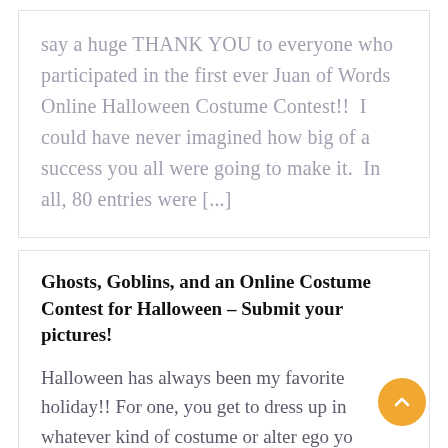say a huge THANK YOU to everyone who participated in the first ever Juan of Words Online Halloween Costume Contest!!  I could have never imagined how big of a success you all were going to make it.  In all, 80 entries were [...]
Ghosts, Goblins, and an Online Costume Contest for Halloween – Submit your pictures!
Halloween has always been my favorite holiday!! For one, you get to dress up in whatever kind of costume or alter ego yo want to. Then you can actually walk...